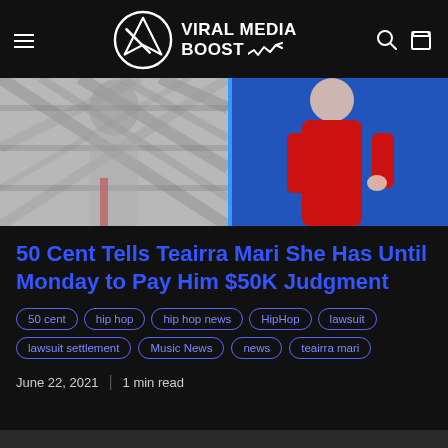VIRAL MEDIA BOOST
[Figure (photo): Side-by-side photos: left shows a person in a grey/white plaid outfit, right shows a person in a red dress/suit against a blue background]
50 Cent Tells Teairra Mari She Has Until Monday to Pay Him $50K Judgment
50 cent
hip hop
hip hop news
HipHop
lawsuit
lawsuit settlement
Music News
news
teairra mari
June 22, 2021  |  1 min read